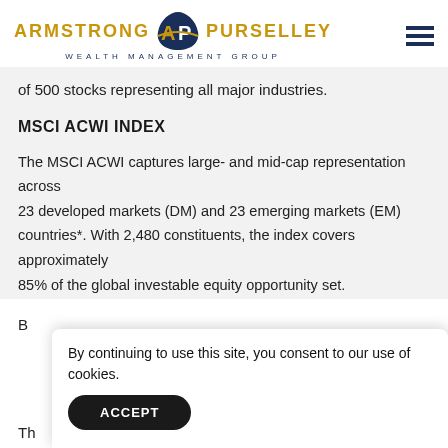ARMSTRONG PURSELLEY WEALTH MANAGEMENT GROUP
of 500 stocks representing all major industries.
MSCI ACWI INDEX
The MSCI ACWI captures large- and mid-cap representation across 23 developed markets (DM) and 23 emerging markets (EM) countries*. With 2,480 constituents, the index covers approximately 85% of the global investable equity opportunity set.
By continuing to use this site, you consent to our use of cookies.
ACCEPT